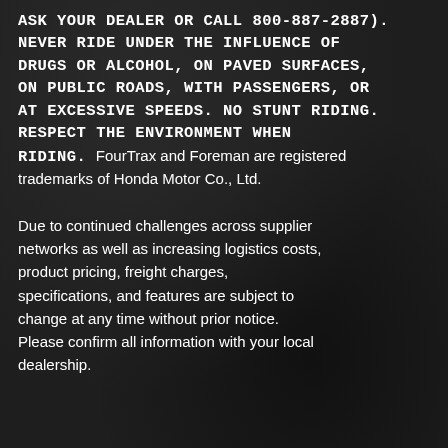ASK YOUR DEALER OR CALL 800-887-2887). NEVER RIDE UNDER THE INFLUENCE OF DRUGS OR ALCOHOL, ON PAVED SURFACES, ON PUBLIC ROADS, WITH PASSENGERS, OR AT EXCESSIVE SPEEDS. NO STUNT RIDING. RESPECT THE ENVIRONMENT WHEN RIDING. FourTrax and Foreman are registered trademarks of Honda Motor Co., Ltd.
Due to continued challenges across supplier networks as well as increasing logistics costs, product pricing, freight charges, specifications, and features are subject to change at any time without prior notice. Please confirm all information with your local dealership.